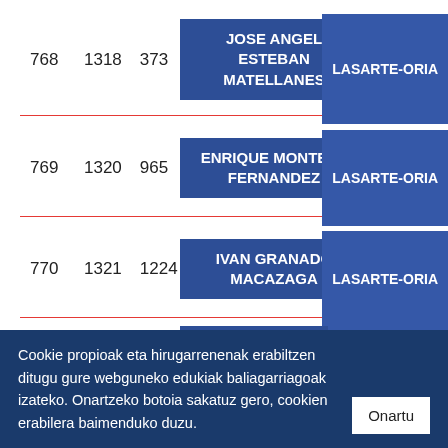| # | ID1 | ID2 | Name | Location |
| --- | --- | --- | --- | --- |
| 768 | 1318 | 373 | JOSE ANGEL ESTEBAN MATELLANES | LASARTE-ORIA |
| 769 | 1320 | 965 | ENRIQUE MONTEJO FERNANDEZ | LASARTE-ORIA |
| 770 | 1321 | 1224 | IVAN GRANADO MACAZAGA | LASARTE-ORIA |
| 771 | 1322 | 1219 | GORKA NOGUEIRA | HENDAYE |
Cookie propioak eta hirugarrenenak erabiltzen ditugu gure webguneko edukiak baliagarriagoak izateko. Onartzeko botoia sakatuz gero, cookien erabilera baimenduko duzu. Onartu